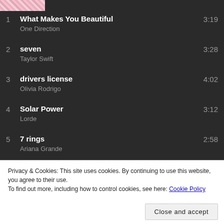[Figure (illustration): Album art thumbnail with floral pink pattern]
1  What Makes You Beautiful  One Direction  3:19
2  seven  Taylor Swift  3:28
3  drivers license  Olivia Rodrigo  4:02
4  Solar Power  Lorde  3:12
5  7 rings  Ariana Grande  2:58
6  right where you left me - bonus track  Taylor Swift  4:05
Privacy & Cookies: This site uses cookies. By continuing to use this website, you agree to their use.
To find out more, including how to control cookies, see here: Cookie Policy
Close and accept